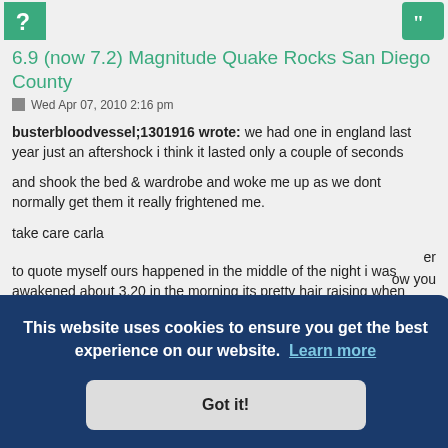[header icons: question mark and quote icons in green boxes]
6.9 (now 7.2) Magnitude Quake Rocks San Diego County
Wed Apr 07, 2010 2:16 pm
busterbloodvessel;1301916 wrote: we had one in england last year just an aftershock i think it lasted only a couple of seconds

and shook the bed & wardrobe and woke me up as we dont normally get them it really frightened me.

take care carla


to quote myself ours happened in the middle of the night i was awakened about 3.20 in the morning its pretty hair raising when your woken by [text cut off] m side to [text cut off] er [text cut off] ow you [text cut off] e the earth shifts under your feet.
This website uses cookies to ensure you get the best experience on our website. Learn more
Got it!